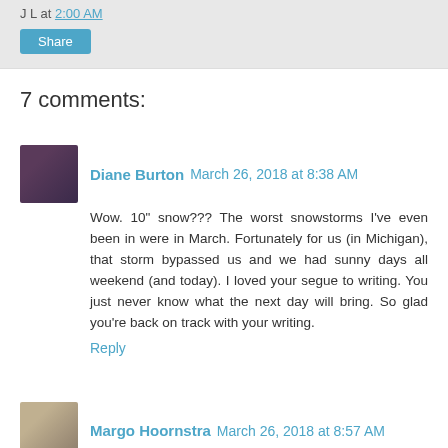J L at 2:00 AM
Share
7 comments:
Diane Burton  March 26, 2018 at 8:38 AM
Wow. 10" snow??? The worst snowstorms I've even been in were in March. Fortunately for us (in Michigan), that storm bypassed us and we had sunny days all weekend (and today). I loved your segue to writing. You just never know what the next day will bring. So glad you're back on track with your writing.
Reply
Margo Hoornstra  March 26, 2018 at 8:57 AM
Nice way to start my day. Reading about snow elsewhere. LOL Glad you made the most of your day in the storm.
Reply